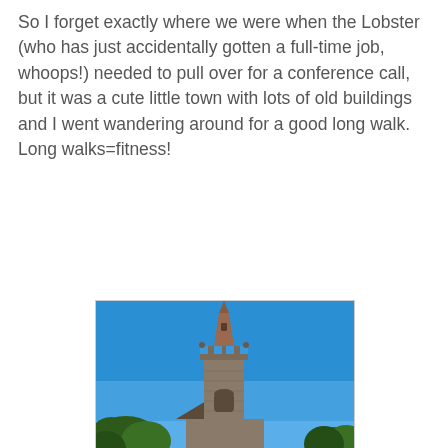So I forget exactly where we were when the Lobster (who has just accidentally gotten a full-time job, whoops!) needed to pull over for a conference call, but it was a cute little town with lots of old buildings and I went wandering around for a good long walk. Long walks=fitness!
[Figure (photo): A tall stone church bell tower with a pointed spire photographed against a clear bright blue sky. Green trees are visible at the lower left and right edges. The tower features Gothic architectural details including arched openings and decorative stonework.]